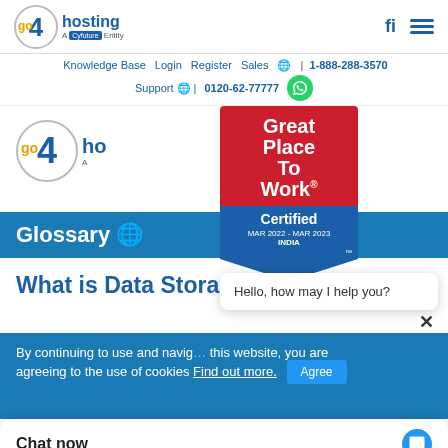[Figure (logo): go4hosting logo with circle and 'A Cyfuture Entity' tagline in top navigation bar]
Knowledge Base  Login  Register  Sales  🌐 | 1-888-288-3570
Support 🌐 | 0120-62-77777
[Figure (logo): go4hosting main logo (larger version) with circle]
[Figure (illustration): Great Place To Work Certified badge, MAR 2022 - MAR 2023, INDIA]
Glossary 🌐
What is Data Storage Device?
By continuing to use and navigate this website, you are agreeing to the use of cookies Find out more.
Hello, how may I help you?
Chat now